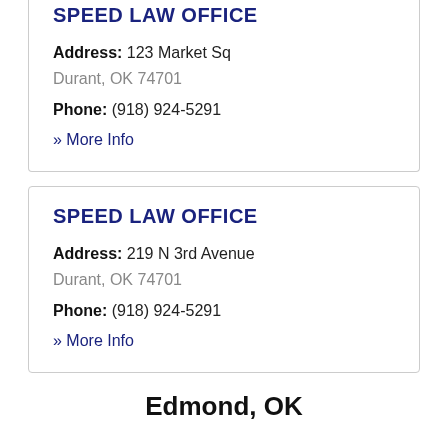SPEED LAW OFFICE
Address: 123 Market Sq
Durant, OK 74701
Phone: (918) 924-5291
» More Info
SPEED LAW OFFICE
Address: 219 N 3rd Avenue
Durant, OK 74701
Phone: (918) 924-5291
» More Info
Edmond, OK